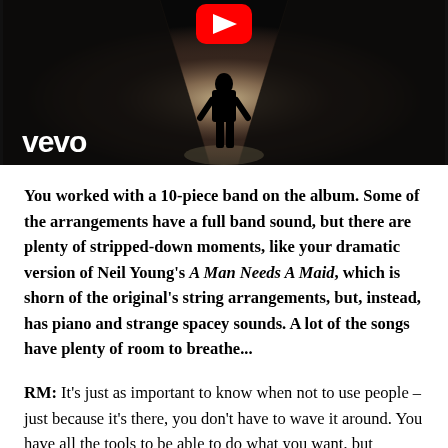[Figure (screenshot): YouTube/Vevo video thumbnail showing a silhouetted figure walking down a bright corridor, with a YouTube play button icon at top center and the 'vevo' logo in white at bottom left. The image is in dark dramatic black and white tones.]
You worked with a 10-piece band on the album. Some of the arrangements have a full band sound, but there are plenty of stripped-down moments, like your dramatic version of Neil Young's A Man Needs A Maid, which is shorn of the original's string arrangements, but, instead, has piano and strange spacey sounds. A lot of the songs have plenty of room to breathe...
RM: It's just as important to know when not to use people – just because it's there, you don't have to wave it around. You have all the tools to be able to do what you want, but